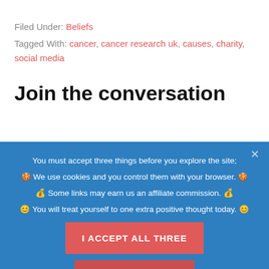Filed Under: Beliefs
Tagged With: cancer, cancer research uk, causes, charity, social media
Join the conversation
You must accept three things before you explore the site; 🍪 We use cookies and you control them with your browser. 🍪 💰 Some links may earn us an affiliate commission. 💰 😊 You will treat yourself to one extra positive thought today. 😊
I ACCEPT ALL THREE
PRIVACY POLICY